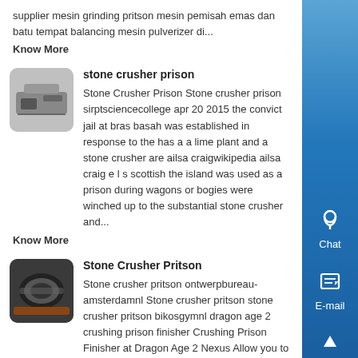supplier mesin grinding pritson mesin pemisah emas dan batu tempat balancing mesin pulverizer di...
Know More
[Figure (photo): Stone crusher machinery thumbnail image]
stone crusher prison
Stone Crusher Prison Stone crusher prison sirptsciencecollege apr 20 2015 the convict jail at bras basah was established in response to the has a a lime plant and a stone crusher are ailsa craigwikipedia ailsa craig e l s scottish the island was used as a prison during wagons or bogies were winched up to the substantial stone crusher and...
Know More
[Figure (photo): Stone crusher pritson machinery cylindrical component thumbnail]
Stone Crusher Pritson
Stone crusher pritson ontwerpbureau-amsterdamnl Stone crusher pritson stone crusher pritson bikosgymnl dragon age 2 crushing prison finisher Crushing Prison Finisher at Dragon Age 2 Nexus Allow you to Finish off an Elite and some Normal rank enemies with Crushing Read more how do you unlock